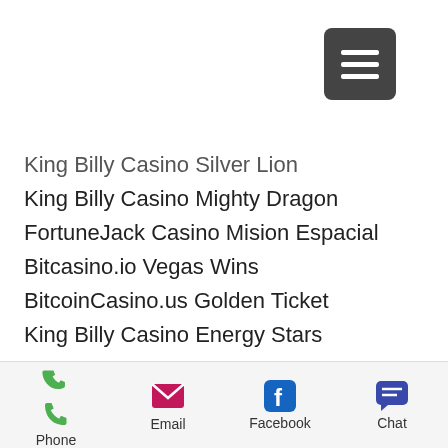[Figure (other): Hamburger menu button (three horizontal lines on dark gray rounded rectangle background)]
King Billy Casino Silver Lion
King Billy Casino Mighty Dragon
FortuneJack Casino Mision Espacial
Bitcasino.io Vegas Wins
BitcoinCasino.us Golden Ticket
King Billy Casino Energy Stars
Bitcoin Penguin Casino Gold Rush
https://simplefxonline.com/community/profile/casinoen48371468/
https://www.apolloniakotero.com/profile/london-hippodrome-casino-seating-plan-5607/profile
https://forum.prokfa.go.th/community/profile/casinoen41947883/
[Figure (infographic): Bottom navigation bar with Phone, Email, Facebook, and Chat icons and labels]